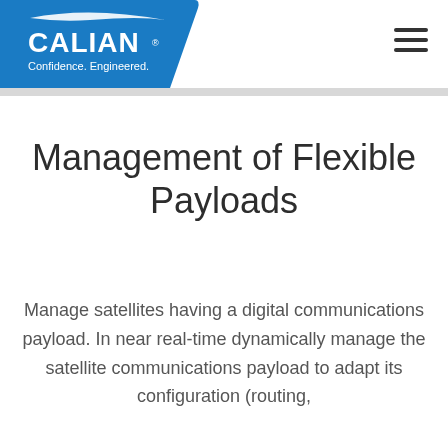[Figure (logo): Calian logo on blue background with text 'CALIAN' and tagline 'Confidence. Engineered.']
Management of Flexible Payloads
Manage satellites having a digital communications payload. In near real-time dynamically manage the satellite communications payload to adapt its configuration (routing,